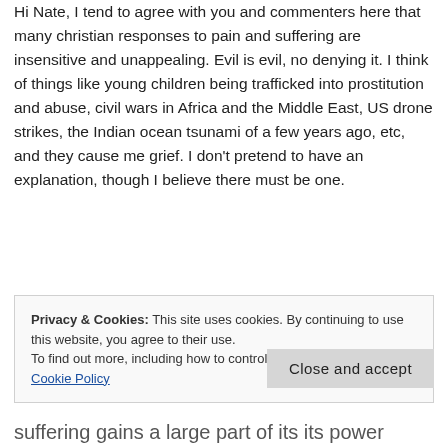Hi Nate, I tend to agree with you and commenters here that many christian responses to pain and suffering are insensitive and unappealing. Evil is evil, no denying it. I think of things like young children being trafficked into prostitution and abuse, civil wars in Africa and the Middle East, US drone strikes, the Indian ocean tsunami of a few years ago, etc, and they cause me grief. I don't pretend to have an explanation, though I believe there must be one.
Privacy & Cookies: This site uses cookies. By continuing to use this website, you agree to their use.
To find out more, including how to control cookies, see here: Cookie Policy
Close and accept
suffering gains a large part of its its power